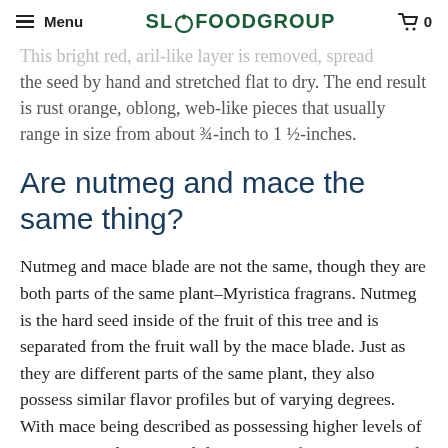Menu  SLOFOODGROUP  0
the seed by hand and stretched flat to dry. The end result is rust orange, oblong, web-like pieces that usually range in size from about ¾-inch to 1 ½-inches.
Are nutmeg and mace the same thing?
Nutmeg and mace blade are not the same, though they are both parts of the same plant–Myristica fragrans. Nutmeg is the hard seed inside of the fruit of this tree and is separated from the fruit wall by the mace blade. Just as they are different parts of the same plant, they also possess similar flavor profiles but of varying degrees. With mace being described as possessing higher levels of sweetness and a more subtle intensity of spice. Mace and nutmeg are each preferred in different recipes, but in a pinch, feel free to use them